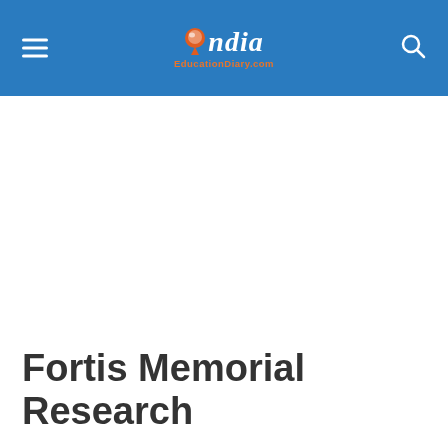India EducationDiary.com
Fortis Memorial Research